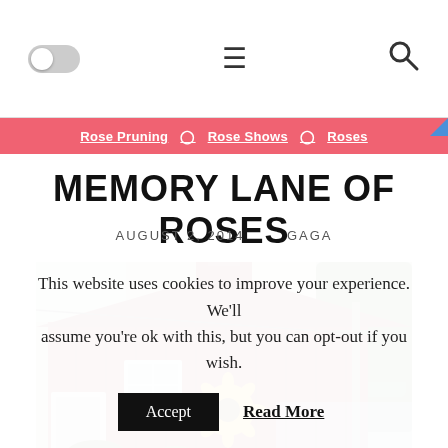[Toggle switch] [Hamburger menu] [Search icon]
Rose Pruning · Rose Shows · Roses
MEMORY LANE OF ROSES
AUGUST 2, 2014   GAGA
[Figure (photo): Red barn building with a sunflower painted on the side, surrounded by trees and greenery]
This website uses cookies to improve your experience. We'll assume you're ok with this, but you can opt-out if you wish. Accept  Read More